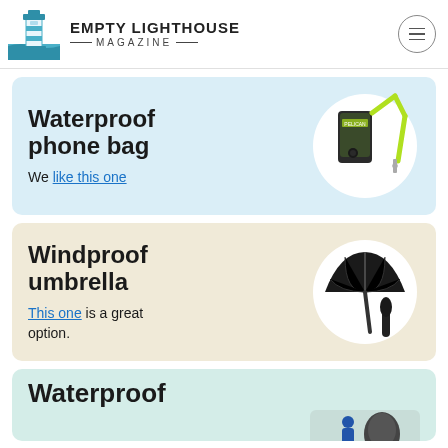EMPTY LIGHTHOUSE MAGAZINE
Waterproof phone bag
We like this one
[Figure (photo): Waterproof phone bag with yellow/green lanyard]
Windproof umbrella
This one is a great option.
[Figure (photo): Black windproof compact umbrella]
Waterproof